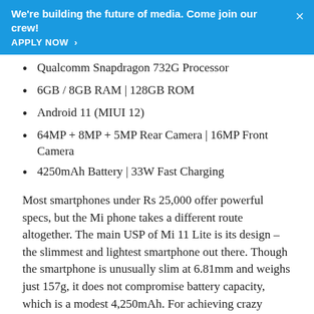We're building the future of media. Come join our crew! APPLY NOW >
Qualcomm Snapdragon 732G Processor
6GB / 8GB RAM | 128GB ROM
Android 11 (MIUI 12)
64MP + 8MP + 5MP Rear Camera | 16MP Front Camera
4250mAh Battery | 33W Fast Charging
Most smartphones under Rs 25,000 offer powerful specs, but the Mi phone takes a different route altogether. The main USP of Mi 11 Lite is its design – the slimmest and lightest smartphone out there. Though the smartphone is unusually slim at 6.81mm and weighs just 157g, it does not compromise battery capacity, which is a modest 4,250mAh. For achieving crazy slimness, it sacrifices the 3.5mm headphone jack. Its next major feature is the